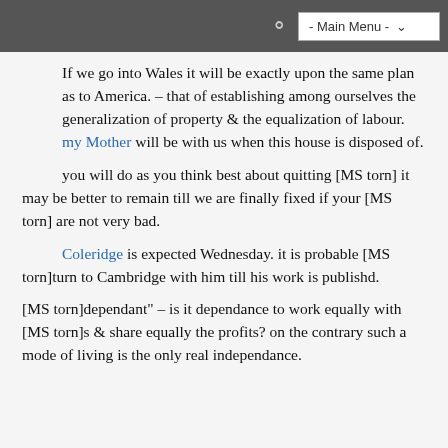- Main Menu -
If we go into Wales it will be exactly upon the same plan as to America. – that of establishing among ourselves the generalization of property & the equalization of labour. my Mother will be with us when this house is disposed of.
you will do as you think best about quitting [MS torn] it may be better to remain till we are finally fixed if your [MS torn] are not very bad.
Coleridge is expected Wednesday. it is probable [MS torn]turn to Cambridge with him till his work is publishd.
[MS torn]dependant" – is it dependance to work equally with [MS torn]s & share equally the profits? on the contrary such a mode of living is the only real independance.